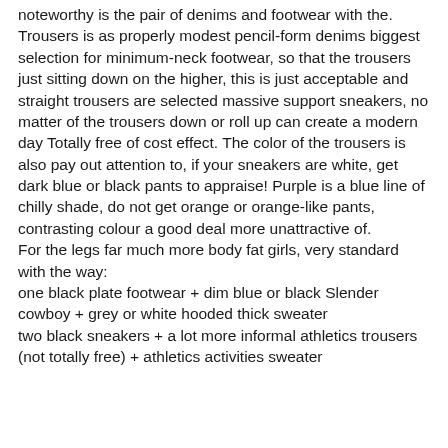noteworthy is the pair of denims and footwear with the. Trousers is as properly modest pencil-form denims biggest selection for minimum-neck footwear, so that the trousers just sitting down on the higher, this is just acceptable and straight trousers are selected massive support sneakers, no matter of the trousers down or roll up can create a modern day Totally free of cost effect. The color of the trousers is also pay out attention to, if your sneakers are white, get dark blue or black pants to appraise! Purple is a blue line of chilly shade, do not get orange or orange-like pants, contrasting colour a good deal more unattractive of.
For the legs far much more body fat girls, very standard with the way:
one black plate footwear + dim blue or black Slender cowboy + grey or white hooded thick sweater
two black sneakers + a lot more informal athletics trousers (not totally free) + athletics activities sweater